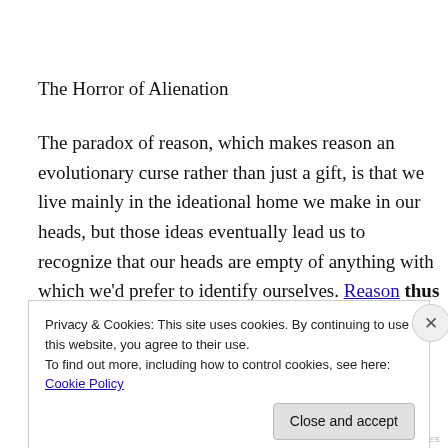The Horror of Alienation
The paradox of reason, which makes reason an evolutionary curse rather than just a gift, is that we live mainly in the ideational home we make in our heads, but those ideas eventually lead us to recognize that our heads are empty of anything with which we'd prefer to identify ourselves. Reason thus evicts us from our homes,
Privacy & Cookies: This site uses cookies. By continuing to use this website, you agree to their use.
To find out more, including how to control cookies, see here: Cookie Policy
Close and accept